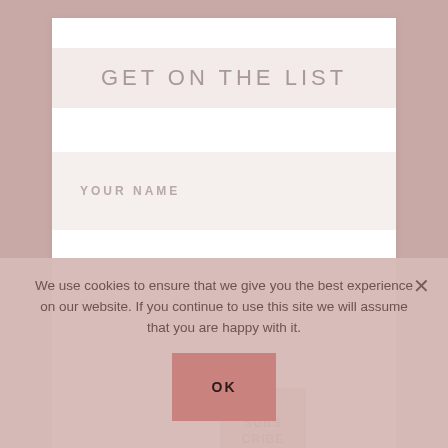GET ON THE LIST
YOUR NAME
EMAIL ADDRESS
SUBSCRIBE
We use cookies to ensure that we give you the best experience on our website. If you continue to use this site we will assume that you are happy with it.
OK